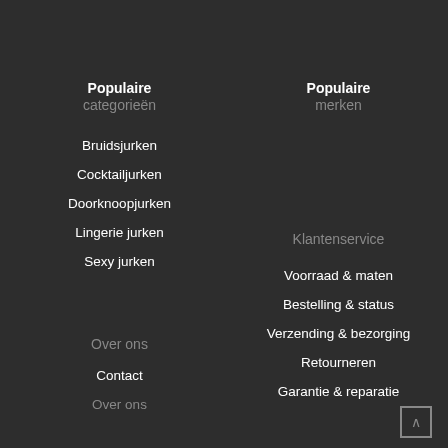Populaire categorieën
Bruidsjurken
Cocktailjurken
Doorknoopjurken
Lingerie jurken
Sexy jurken
Over ons
Contact
Over ons
Populaire merken
Klantenservice
Voorraad & maten
Bestelling & status
Verzending & bezorging
Retourneren
Garantie & reparatie